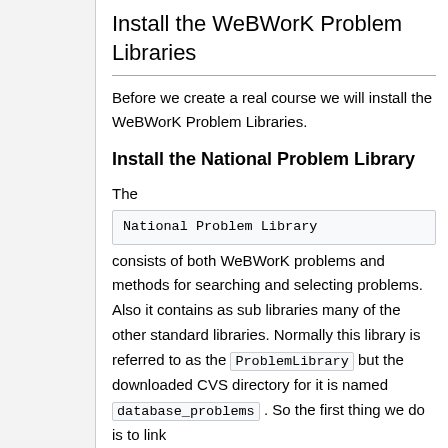Install the WeBWorK Problem Libraries
Before we create a real course we will install the WeBWorK Problem Libraries.
Install the National Problem Library
The National Problem Library consists of both WeBWorK problems and methods for searching and selecting problems. Also it contains as sub libraries many of the other standard libraries. Normally this library is referred to as the ProblemLibrary but the downloaded CVS directory for it is named database_problems . So the first thing we do is to link